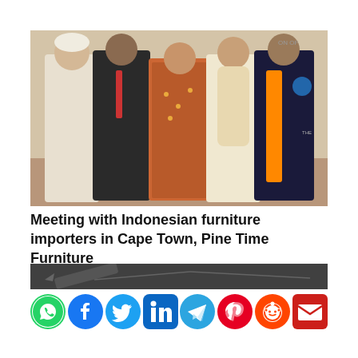[Figure (photo): Group photo of five people standing together in a formal/diplomatic setting. Individuals are wearing traditional and formal attire.]
Meeting with Indonesian furniture importers in Cape Town, Pine Time Furniture
[Figure (photo): Dark surface/chalkboard background image strip]
[Figure (infographic): Row of social media sharing icons: WhatsApp (green), Facebook (blue), Twitter (blue), LinkedIn (blue), Telegram (blue), Pinterest (red), Reddit (orange), Email (red)]